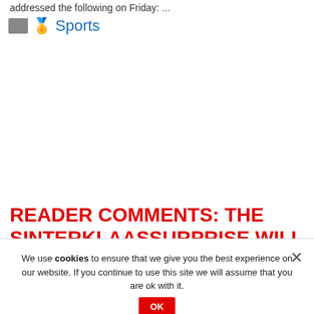addressed the following on Friday: ...
Sports
READER COMMENTS: THE SINTERKLAASSURPRISE WILL BE THERE THIS YEAR
12/06/2020
Every week we gauge the opinion of readers that cceit.com/lifestyle. This time: who makes surprises for Sinterklaas? Sinterklaassurprise seem more popular than ever. Thank
We use cookies to ensure that we give you the best experience on our website. If you continue to use this site we will assume that you are ok with it.